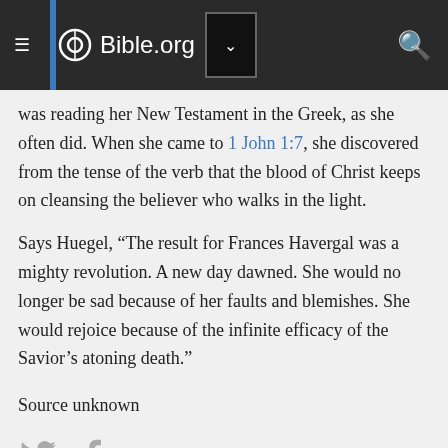Bible.org
was reading her New Testament in the Greek, as she often did. When she came to 1 John 1:7, she discovered from the tense of the verb that the blood of Christ keeps on cleansing the believer who walks in the light.
Says Huegel, “The result for Frances Havergal was a mighty revolution. A new day dawned. She would no longer be sad because of her faults and blemishes. She would rejoice because of the infinite efficacy of the Savior’s atoning death.”
Source unknown